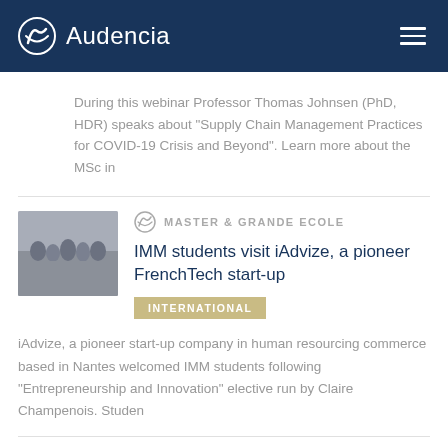Audencia
During this webinar Professor Thomas Johnsen (PhD, HDR) speaks about “Supply Chain Management Practices for COVID-19 Crisis and Beyond”.  Learn more about the MSc in
[Figure (photo): Thumbnail photo of a group of students in a room]
MASTER & GRANDE ECOLE
IMM students visit iAdvize, a pioneer FrenchTech start-up
INTERNATIONAL
iAdvize, a pioneer start-up company in human resourcing commerce based in Nantes welcomed IMM students following “Entrepreneurship and Innovation” elective run by Claire Champenois. Studen